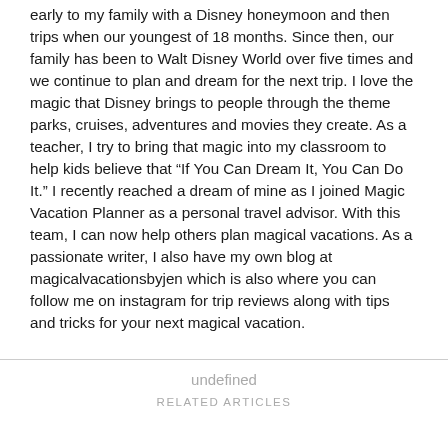early to my family with a Disney honeymoon and then trips when our youngest of 18 months. Since then, our family has been to Walt Disney World over five times and we continue to plan and dream for the next trip. I love the magic that Disney brings to people through the theme parks, cruises, adventures and movies they create. As a teacher, I try to bring that magic into my classroom to help kids believe that “If You Can Dream It, You Can Do It.” I recently reached a dream of mine as I joined Magic Vacation Planner as a personal travel advisor. With this team, I can now help others plan magical vacations. As a passionate writer, I also have my own blog at magicalvacationsbyjen which is also where you can follow me on instagram for trip reviews along with tips and tricks for your next magical vacation.
undefined
RELATED ARTICLES